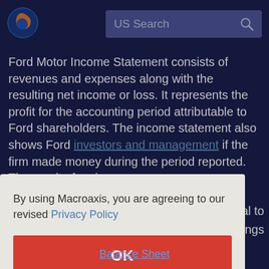[Figure (logo): Macroaxis circular logo with orange and blue globe icon]
US Search
Ford Motor Income Statement consists of revenues and expenses along with the resulting net income or loss. It represents the profit for the accounting period attributable to Ford shareholders. The income statement also shows Ford investors and management if the firm made money during the period reported. The result of an income
By using Macroaxis, you are agreeing to our revised Privacy Policy
OK
Balance Sheet